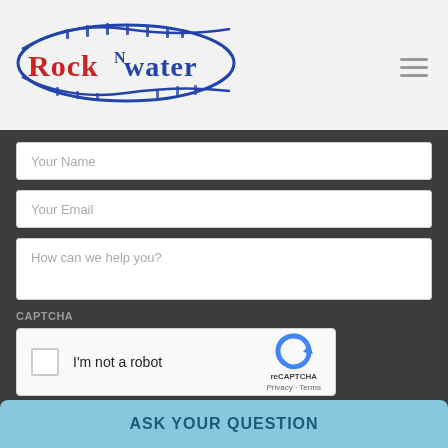[Figure (logo): Rock N Water adventure company logo with blue wave/banner design and red text]
Your Name
Your Email
How can we help you?
CAPTCHA
[Figure (other): reCAPTCHA widget with checkbox labeled I'm not a robot]
ASK YOUR QUESTION